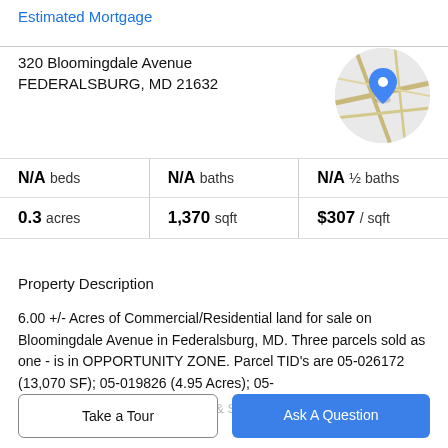Estimated Mortgage
320 Bloomingdale Avenue
FEDERALSBURG, MD 21632
[Figure (map): Circular map thumbnail showing location pin marker on a road map for 320 Bloomingdale Avenue, Federalsburg, MD]
| N/A beds | N/A baths | N/A ½ baths |
| 0.3 acres | 1,370 sqft | $307 / sqft |
Property Description
6.00 +/- Acres of Commercial/Residential land for sale on Bloomingdale Avenue in Federalsburg, MD. Three parcels sold as one - is in OPPORTUNITY ZONE. Parcel TID's are 05-026172 (13,070 SF); 05-019826 (4.95 Acres); 05-
013372 (16,445 SF). Public water & Sewer lines installed
Take a Tour
Ask A Question